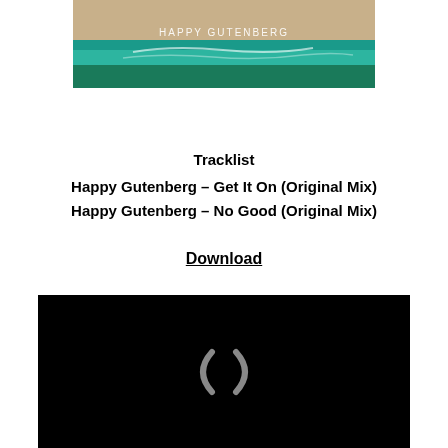[Figure (photo): Aerial view of a beach with sandy shore, turquoise water and green vegetation. White text reads 'HAPPY GUTENBERG' in the center.]
Tracklist
Happy Gutenberg – Get It On (Original Mix)
Happy Gutenberg – No Good (Original Mix)
Download
[Figure (screenshot): Black video player area with a loading spinner icon (parentheses-like arc shapes) in the center.]